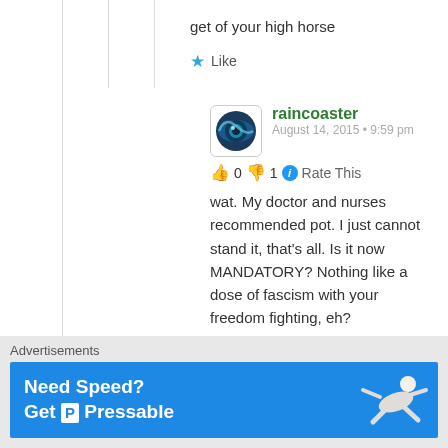get of your high horse
★ Like
raincoaster
August 14, 2015 • 9:59 pm
👍 0 👎 1 ℹ Rate This
wat. My doctor and nurses recommended pot. I just cannot stand it, that's all. Is it now MANDATORY? Nothing like a dose of fascism with your freedom fighting, eh?
★ Like
Advertisements
[Figure (screenshot): Blue advertisement banner reading 'Need Speed? Get P Pressable' with a figure of a person flying/running]